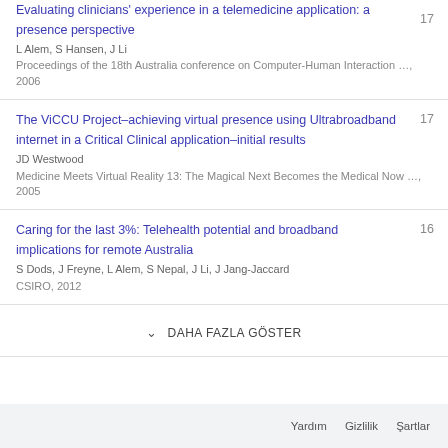Evaluating clinicians' experience in a telemedicine application: a presence perspective
L Alem, S Hansen, J Li
Proceedings of the 18th Australia conference on Computer-Human Interaction …, 2006
17
The ViCCU Project–achieving virtual presence using Ultrabroadband internet in a Critical Clinical application–initial results
JD Westwood
Medicine Meets Virtual Reality 13: The Magical Next Becomes the Medical Now …, 2005
17
Caring for the last 3%: Telehealth potential and broadband implications for remote Australia
S Dods, J Freyne, L Alem, S Nepal, J Li, J Jang-Jaccard
CSIRO, 2012
16
DAHA FAZLA GÖSTER
Yardım  Gizlilik  Şartlar